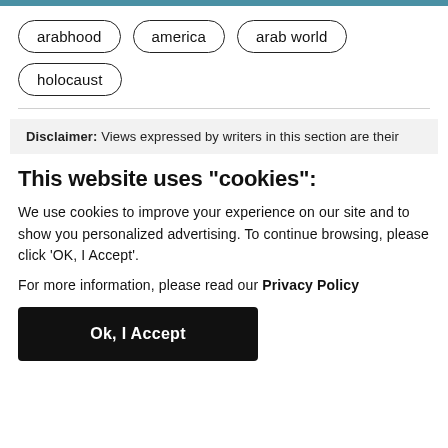arabhood
america
arab world
holocaust
Disclaimer: Views expressed by writers in this section are their
This website uses "cookies":
We use cookies to improve your experience on our site and to show you personalized advertising. To continue browsing, please click 'OK, I Accept'.
For more information, please read our Privacy Policy